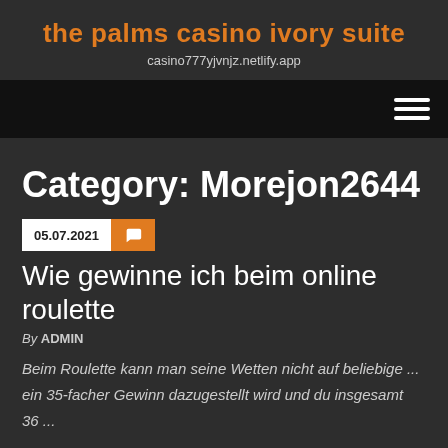the palms casino ivory suite
casino777yjvnjz.netlify.app
[Figure (screenshot): Navigation bar with hamburger menu icon (three white horizontal lines) on dark/black background]
Category: Morejon2644
05.07.2021
Wie gewinne ich beim online roulette
By ADMIN
Beim Roulette kann man seine Wetten nicht auf beliebige ... ein 35-facher Gewinn dazugestellt wird und du insgesamt 36 ...